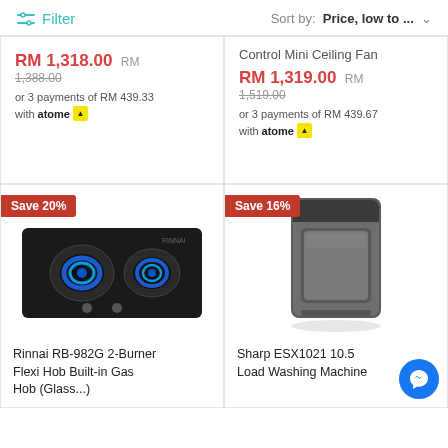Filter | Sort by: Price, low to ...
Control Mini Ceiling Fan
RM 1,318.00  RM 1,388.00  or 3 payments of RM 439.33 with atome
RM 1,319.00  RM 1,519.00  or 3 payments of RM 439.67 with atome
[Figure (photo): Rinnai RB-982G 2-Burner Flexi Hob Built-in Gas Hob with two blue gas burners on a black surface]
Save 20%
Rinnai RB-982G 2-Burner Flexi Hob Built-in Gas Hob (Glass...)
[Figure (photo): Sharp ESX1021 10.5kg top-load washing machine in dark silver/grey]
Save 16%
Sharp ESX1021 10.5 Load Washing Machine